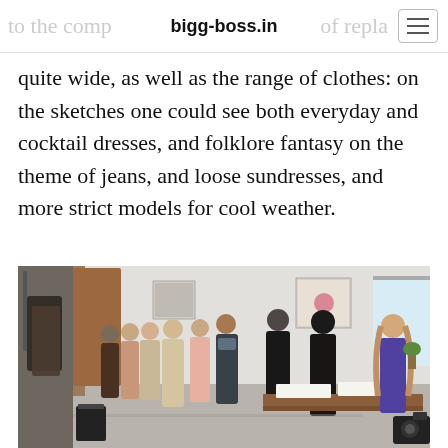bigg-boss.in
quite wide, as well as the range of clothes: on the sketches one could see both everyday and cocktail dresses, and folklore fantasy on the theme of jeans, and loose sundresses, and more strict models for cool weather.
[Figure (photo): A group of young women standing in line at a registration or check-in table in a bright interior room. A woman with long hair sits at the table reviewing papers. A camera is visible in the lower right corner.]